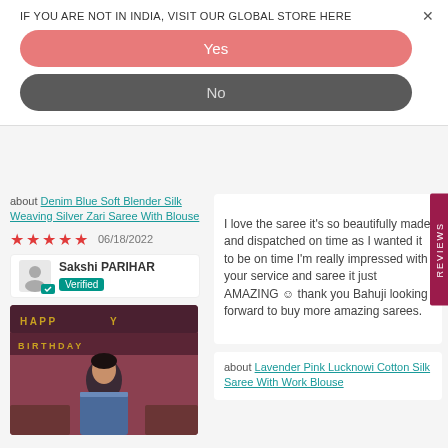IF YOU ARE NOT IN INDIA, VISIT OUR GLOBAL STORE HERE
Yes
No
about Denim Blue Soft Blender Silk Weaving Silver Zari Saree With Blouse
06/18/2022
Sakshi PARIHAR Verified
[Figure (photo): Photo of woman wearing blue saree, birthday banner in background reading HAPPY BIRTHDAY]
I love the saree it's so beautifully made and dispatched on time as I wanted it to be on time I'm really impressed with your service and saree it just AMAZING ☺ thank you Bahuji looking forward to buy more amazing sarees.
about Lavender Pink Lucknowi Cotton Silk Saree With Work Blouse